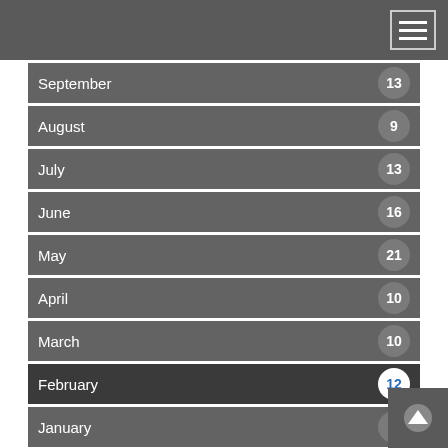September 13
August 9
July 13
June 16
May 21
April 10
March 10
February 12
January 9
2018
December 13
November 15
October 1
September 1
August 15
July 10